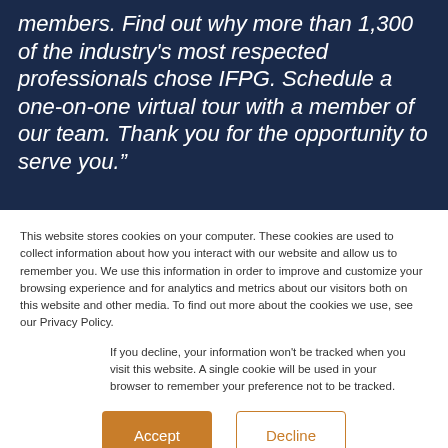members. Find out why more than 1,300 of the industry's most respected professionals chose IFPG. Schedule a one-on-one virtual tour with a member of our team. Thank you for the opportunity to serve you."
This website stores cookies on your computer. These cookies are used to collect information about how you interact with our website and allow us to remember you. We use this information in order to improve and customize your browsing experience and for analytics and metrics about our visitors both on this website and other media. To find out more about the cookies we use, see our Privacy Policy.
If you decline, your information won't be tracked when you visit this website. A single cookie will be used in your browser to remember your preference not to be tracked.